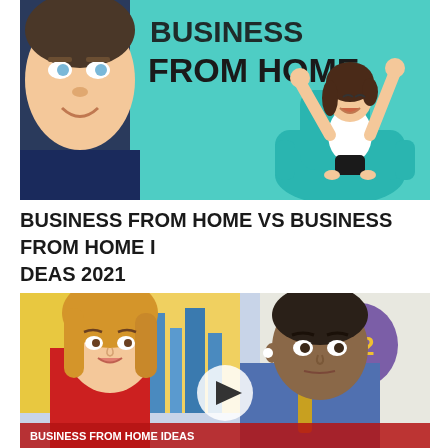[Figure (screenshot): Thumbnail image showing a young man on the left side and a cartoon illustration of a woman celebrating in a teal armchair on the right, with text 'BUSINESS FROM HOME' in bold teal and dark letters at the top center]
BUSINESS FROM HOME VS BUSINESS FROM HOME IDEAS 2021
[Figure (screenshot): Video thumbnail showing two people - a woman with blonde hair in a red outfit on the left and a man in a blue blazer on the right, with colorful city background and numbers 42 and 29 visible, and a play button overlay in the center]